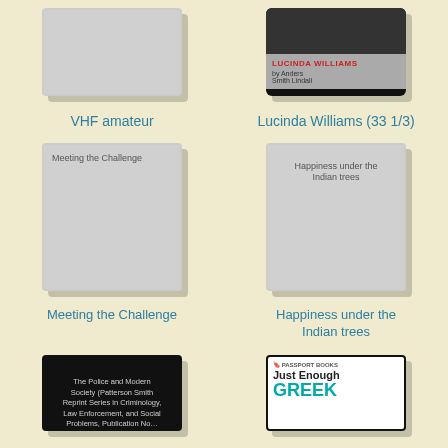[Figure (illustration): Gray book cover placeholder for VHF amateur]
VHF amateur
[Figure (illustration): Book cover for Lucinda Williams (33 1/3) by Anders Smith Lindall, black top half and gray bottom half with red title text]
Lucinda Williams (33 1/3)
[Figure (illustration): Gray book cover placeholder with text Meeting the Challenge]
Meeting the Challenge
[Figure (illustration): Gray book cover placeholder with text Happiness under the Indian trees]
Happiness under the Indian trees
[Figure (illustration): Black book cover for The Police and Modern Society (Patterson Smith Reprint Series in Criminology, Law Enforcement, and Social Problems)]
[Figure (illustration): Passport Books cover for Just Enough Greek, white with teal Greek text]